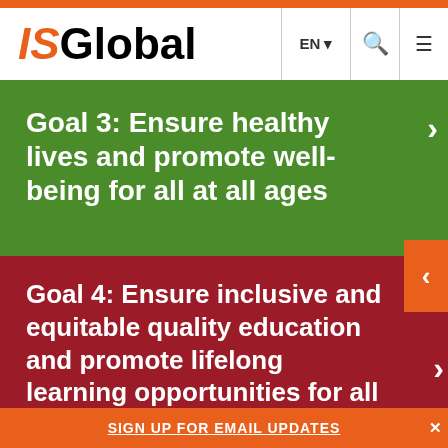ISGlobal
Goal 3: Ensure healthy lives and promote well-being for all at all ages
Goal 4: Ensure inclusive and equitable quality education and promote lifelong learning opportunities for all
SIGN UP FOR EMAIL UPDATES